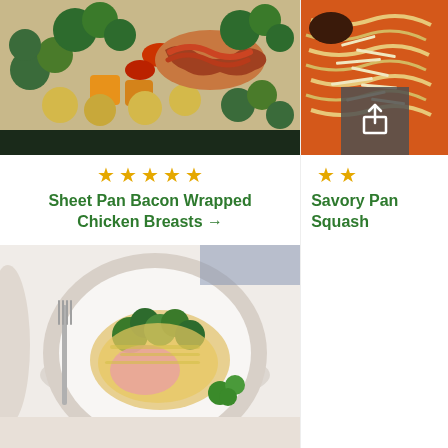[Figure (photo): Sheet pan with bacon wrapped chicken breasts surrounded by roasted vegetables including broccoli, brussels sprouts, peppers, and squash]
[Figure (photo): Savory pan squash dish on orange plate with shredded cheese]
★★★★★
★★
Sheet Pan Bacon Wrapped Chicken Breasts →
Savory Pan Squash
[Figure (photo): Plate with chicken and broccoli casserole topped with cheese, served with fork and parsley garnish]